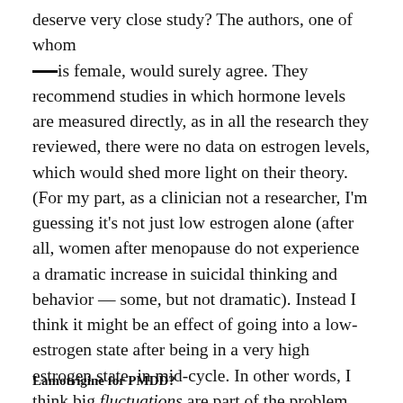deserve very close study? The authors, one of whom is female, would surely agree. They recommend studies in which hormone levels are measured directly, as in all the research they reviewed, there were no data on estrogen levels, which would shed more light on their theory. (For my part, as a clinician not a researcher, I'm guessing it's not just low estrogen alone (after all, women after menopause do not experience a dramatic increase in suicidal thinking and behavior — some, but not dramatic). Instead I think it might be an effect of going into a low-estrogen state after being in a very high estrogen state, in mid-cycle. In other words, I think big fluctuations are part of the problem, maybe most of it — not low levels, or high levels, themselves. But I'm only guessing, really. Having some direct data on this would be tremendously helpful.
Lamotrigine for PMDD?